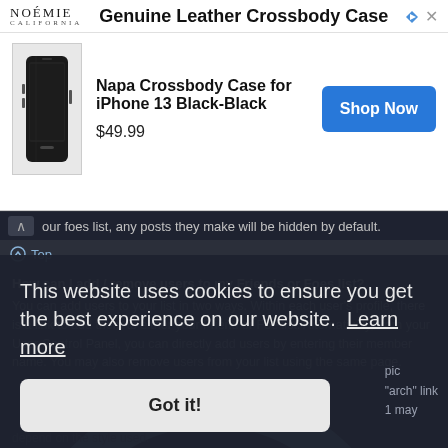[Figure (screenshot): Advertisement banner for NOÉMIE brand showing 'Genuine Leather Crossbody Case' with product image of Napa Crossbody Case for iPhone 13 Black-Black priced at $49.99 with Shop Now button]
our foes list, any posts they make will be hidden by default.
⌃ Top
How can I add / remove users to my Friends or Foes list?
You can add users to your list in two ways. Within each user's profile, there is a link to add them to either your Friend or Foe list. Alternatively, from your User Control Panel, you can directly add users by entering their member name. You may also remove users from your list using the same page.
⌃ Top
This website uses cookies to ensure you get the best experience on our website.  Learn more
Got it!
pic
"arch" link
1 may
depend on the style used.